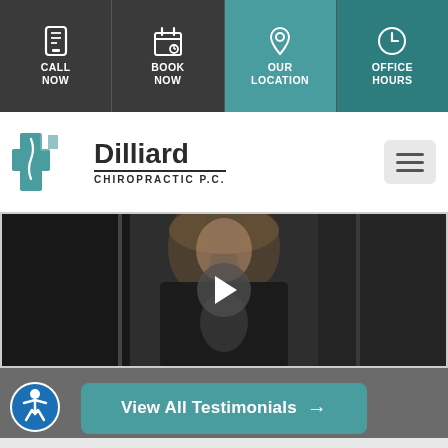CALL NOW | BOOK NOW | OUR LOCATION | OFFICE HOURS
[Figure (logo): Dilliard Chiropractic P.C. logo with teal cross and spine graphic]
[Figure (photo): Video thumbnail of a woman with blonde hair wearing a black jacket, with a play button overlay]
View All Testimonials →
[Figure (other): Accessibility (wheelchair) icon badge in bottom left corner]